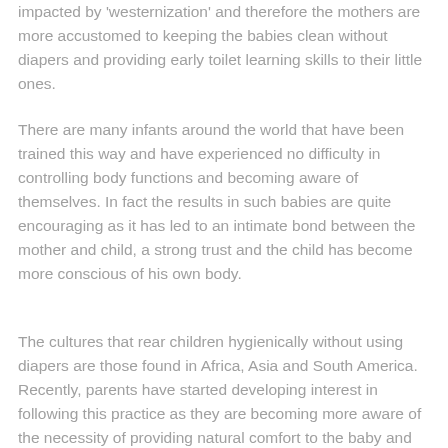impacted by 'westernization' and therefore the mothers are more accustomed to keeping the babies clean without diapers and providing early toilet learning skills to their little ones.
There are many infants around the world that have been trained this way and have experienced no difficulty in controlling body functions and becoming aware of themselves. In fact the results in such babies are quite encouraging as it has led to an intimate bond between the mother and child, a strong trust and the child has become more conscious of his own body.
The cultures that rear children hygienically without using diapers are those found in Africa, Asia and South America. Recently, parents have started developing interest in following this practice as they are becoming more aware of the necessity of providing natural comfort to the baby and avoiding diaper rashes at the same time. Furthermore, the need to switch from diapers is gaining more ground for environmental reasons to prevent the massive use of